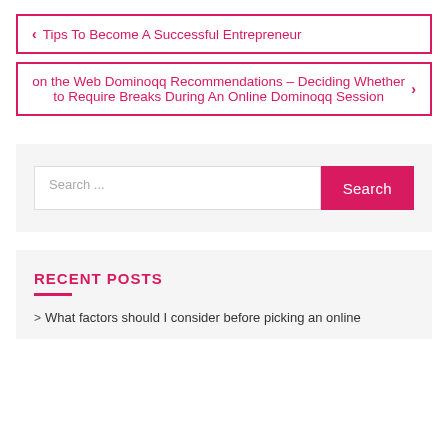< Tips To Become A Successful Entrepreneur
on the Web Dominoqq Recommendations – Deciding Whether to Require Breaks During An Online Dominoqq Session >
Search ...
RECENT POSTS
> What factors should I consider before picking an online